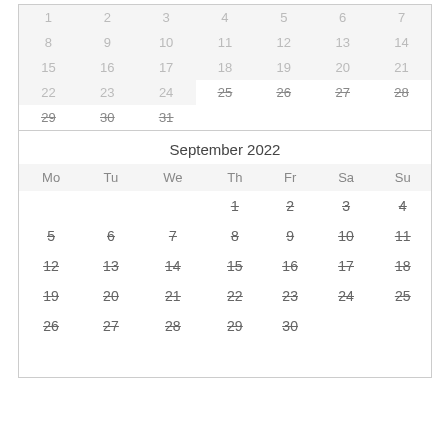| Mo | Tu | We | Th | Fr | Sa | Su |
| --- | --- | --- | --- | --- | --- | --- |
| 1 | 2 | 3 | 4 | 5 | 6 | 7 |
| 8 | 9 | 10 | 11 | 12 | 13 | 14 |
| 15 | 16 | 17 | 18 | 19 | 20 | 21 |
| 22 | 23 | 24 | 25 | 26 | 27 | 28 |
| 29 | 30 | 31 |  |  |  |  |
September 2022
| Mo | Tu | We | Th | Fr | Sa | Su |
| --- | --- | --- | --- | --- | --- | --- |
|  |  |  | 1 | 2 | 3 | 4 |
| 5 | 6 | 7 | 8 | 9 | 10 | 11 |
| 12 | 13 | 14 | 15 | 16 | 17 | 18 |
| 19 | 20 | 21 | 22 | 23 | 24 | 25 |
| 26 | 27 | 28 | 29 | 30 |  |  |